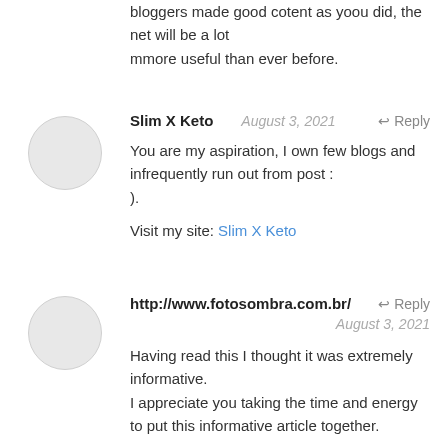bloggers made good cotent as yoou did, the net will be a lot
mmore useful than ever before.
Slim X Keto  August 3, 2021  Reply
You are my aspiration, I own few blogs and infrequently run out from post :
).
Visit my site: Slim X Keto
http://www.fotosombra.com.br/  Reply
August 3, 2021
Having read this I thought it was extremely informative.
I appreciate you taking the time and energy to put this informative article together.
I once again find myself personally spending way too